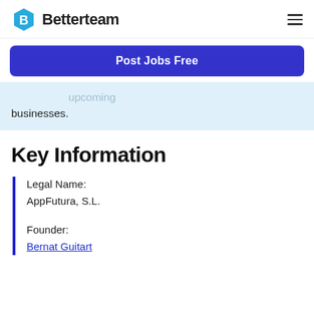Betterteam
Post Jobs Free
…upcoming businesses.
Key Information
Legal Name: AppFutura, S.L.
Founder: Bernat Guitart